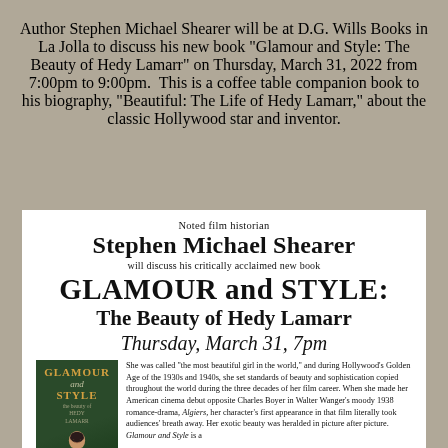Author Stephen Michael Shearer will be at D.G. Wills Books in La Jolla to discuss his new book "Glamour and Style: The Beauty of Hedy Lamarr" on Thursday, March 31, 2022 from 7:00pm to 9:00pm. This is a coffee table companion book to his biography, "Beautiful: The Life of Hedy Lamarr," about the classic Hollywood star and inventor.
[Figure (illustration): Event flyer for Stephen Michael Shearer book discussion at D.G. Wills Books. White background flyer with text: 'Noted film historian / Stephen Michael Shearer / will discuss his critically acclaimed new book / GLAMOUR and STYLE: / The Beauty of Hedy Lamarr / Thursday, March 31, 7pm'. Bottom section shows book cover image on left and description text on right.]